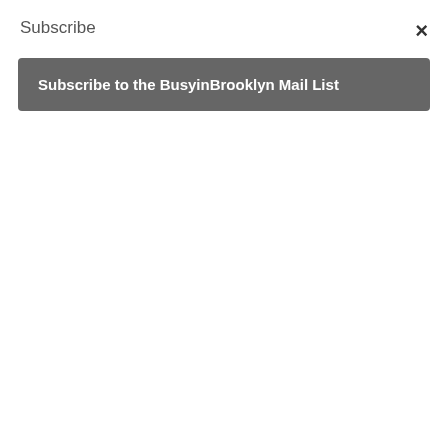Subscribe
×
Subscribe to the BusyinBrooklyn Mail List
strawberry shortcake cake and so did everyone else. One guest even asked where I bought it :)
Reply
Juliet
November 10, 2011 at 12:59 pm
Like others, I use fresh local ingredients and as few processed foods as possible. I like to look up recipes on the internet for a main ingredient or two, for example, spaghetti squash and mushrooms, and see if I can create something with the ingredients I have based on the recipes that